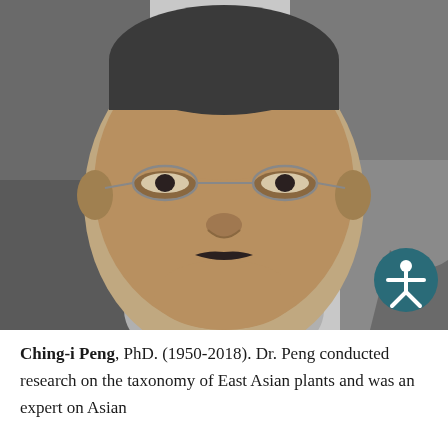[Figure (photo): Black and white portrait photograph of Ching-i Peng, a middle-aged Asian man smiling, wearing wire-rimmed glasses, with foliage in the background. An accessibility icon (white figure with arms outstretched on dark teal circle) is overlaid in the lower right of the photo.]
Ching-i Peng, PhD. (1950-2018). Dr. Peng conducted research on the taxonomy of East Asian plants and was an expert on Asian